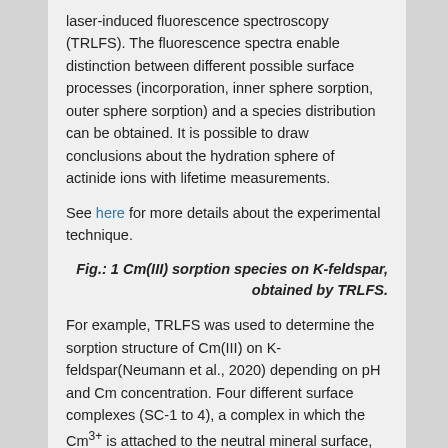laser-induced fluorescence spectroscopy (TRLFS). The fluorescence spectra enable distinction between different possible surface processes (incorporation, inner sphere sorption, outer sphere sorption) and a species distribution can be obtained. It is possible to draw conclusions about the hydration sphere of actinide ions with lifetime measurements.
See here for more details about the experimental technique.
Fig.: 1 Cm(III) sorption species on K-feldspar, obtained by TRLFS.
For example, TRLFS was used to determine the sorption structure of Cm(III) on K-feldspar(Neumann et al., 2020) depending on pH and Cm concentration. Four different surface complexes (SC-1 to 4), a complex in which the Cm3+ is attached to the neutral mineral surface, an inner sphere complex and two hydrolysis forms, were identified (Fig. 1).
Through peak deconvolution, the quantitative contribution of each sorption species can be...